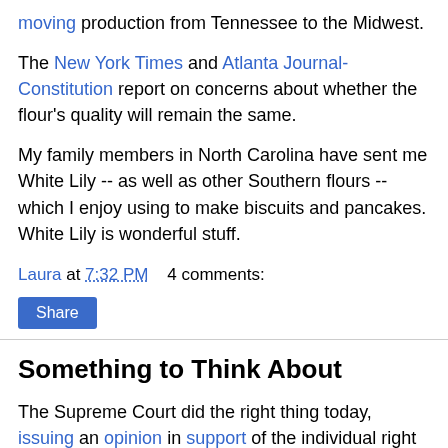moving production from Tennessee to the Midwest.
The New York Times and Atlanta Journal-Constitution report on concerns about whether the flour's quality will remain the same.
My family members in North Carolina have sent me White Lily -- as well as other Southern flours -- which I enjoy using to make biscuits and pancakes. White Lily is wonderful stuff.
Laura at 7:32 PM    4 comments:
Share
Something to Think About
The Supreme Court did the right thing today, issuing an opinion in support of the individual right to keep and bear arms.
It's disturbing, however, that this was a 5-4 decision, when